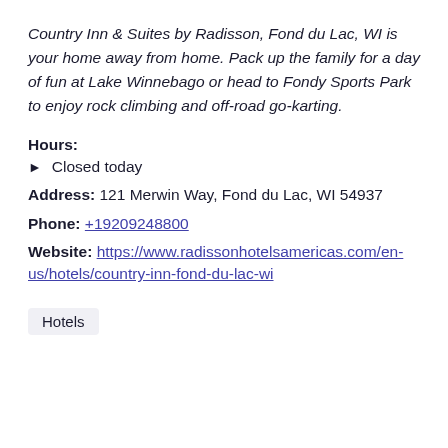Country Inn & Suites by Radisson, Fond du Lac, WI is your home away from home. Pack up the family for a day of fun at Lake Winnebago or head to Fondy Sports Park to enjoy rock climbing and off-road go-karting.
Hours:
Closed today
Address: 121 Merwin Way, Fond du Lac, WI 54937
Phone: +19209248800
Website: https://www.radissonhotelsamericas.com/en-us/hotels/country-inn-fond-du-lac-wi
Hotels